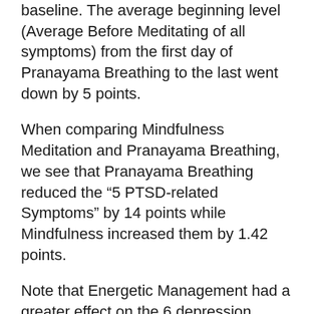baseline. The average beginning level (Average Before Meditating of all symptoms) from the first day of Pranayama Breathing to the last went down by 5 points.
When comparing Mindfulness Meditation and Pranayama Breathing, we see that Pranayama Breathing reduced the “5 PTSD-related Symptoms” by 14 points while Mindfulness increased them by 1.42 points.
Note that Energetic Management had a greater effect on the 6 depression symptoms than the 5 PTSD-related symptoms. After Energetic Management, the 5 more PTSD-related